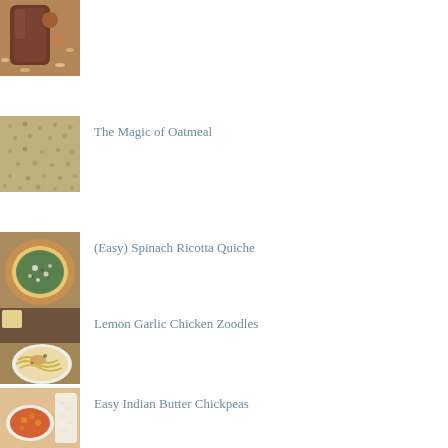[Figure (photo): Close-up of a chocolate smoothie or shake in a glass jar with oats scattered around]
[Figure (photo): Dried oats/grains texture close-up]
The Magic of Oatmeal
[Figure (photo): Spinach Ricotta Quiche in a pastry crust, top-down view]
(Easy) Spinach Ricotta Quiche
[Figure (photo): Lemon Garlic Chicken Zoodles in a white bowl with pasta and garnish]
Lemon Garlic Chicken Zoodles
[Figure (photo): Easy Indian Butter Chickpeas in a bowl with orange/red sauce]
Easy Indian Butter Chickpeas